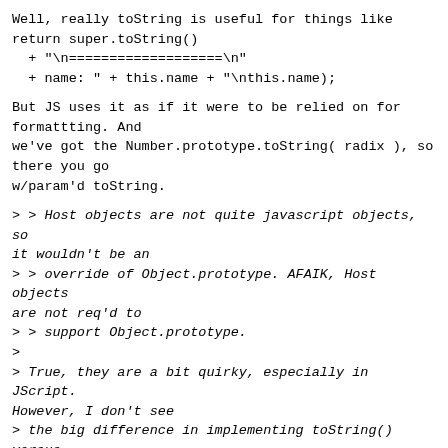Well, really toString is useful for things like
return super.toString()
  + "\n===================\n"
  + name: " + this.name + "\nthis.name);
But JS uses it as if it were to be relied on for
formattting. And
we've got the Number.prototype.toString( radix ), so
there you go
w/param'd toString.
> > Host objects are not quite javascript objects, so
it wouldn't be an
> > override of Object.prototype. AFAIK, Host objects
are not req'd to
> > support Object.prototype.
>
> True, they are a bit quirky, especially in JScript.
However, I don't see
> the big difference in implementing toString() versus
toJSONString().
>
> > How about using a mime type for the JSON and put
that on the form? I
> > think someone mentioned this over at the HTML 5 WG
list.
>
> Yes, that could be possible. It's a bit awkward to
have to set a property.